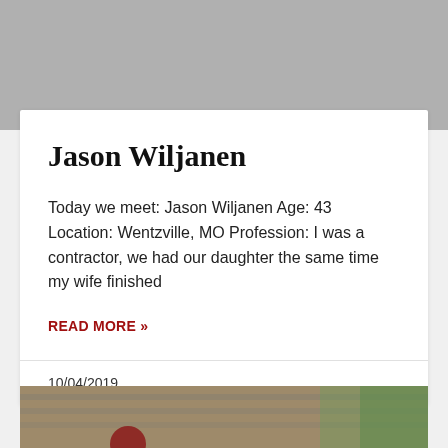[Figure (photo): Gray image placeholder at top of card]
Jason Wiljanen
Today we meet: Jason Wiljanen Age: 43 Location: Wentzville, MO Profession: I was a contractor, we had our daughter the same time my wife finished
READ MORE »
10/04/2019
[Figure (photo): Partial photo of house rooftop with palm trees at bottom of page]